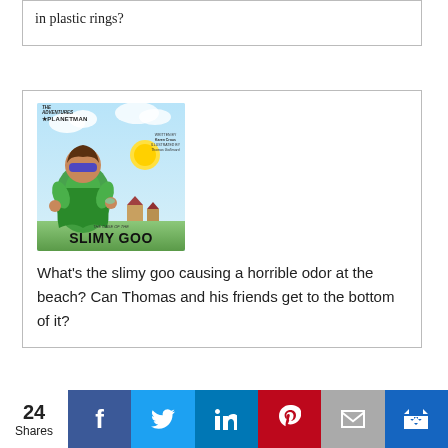in plastic rings?
[Figure (illustration): Book cover for 'The Adventures of Planetman: The Case of the Slimy Goo' — illustrated children's book showing a superhero child character in green cape flying against a blue sky with a yellow sun.]
What's the slimy goo causing a horrible odor at the beach? Can Thomas and his friends get to the bottom of it?
24 Shares — Social share buttons: Facebook, Twitter, LinkedIn, Pinterest, Email, Crown